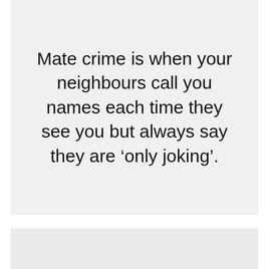Mate crime is when your neighbours call you names each time they see you but always say they are ‘only joking’.